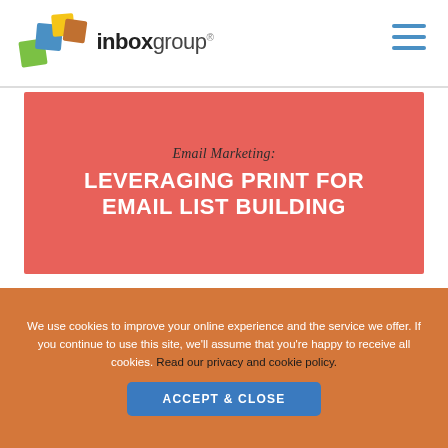[Figure (logo): Inbox Group logo with colorful overlapping squares and the text 'inboxgroup' with a registered trademark symbol]
[Figure (other): Hamburger menu icon with three blue horizontal lines]
Email Marketing: LEVERAGING PRINT FOR EMAIL LIST BUILDING
EMAIL MARKETING: LEVERAGING PRINT FOR EMAIL LIST BUILDING
We use cookies to improve your online experience and the service we offer. If you continue to use this site, we'll assume that you're happy to receive all cookies. Read our privacy and cookie policy.
ACCEPT & CLOSE